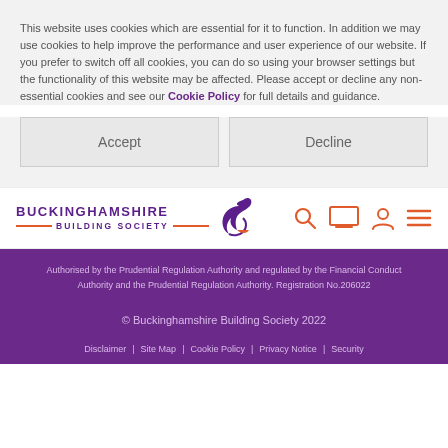This website uses cookies which are essential for it to function. In addition we may use cookies to help improve the performance and user experience of our website. If you prefer to switch off all cookies, you can do so using your browser settings but the functionality of this website may be affected. Please accept or decline any non-essential cookies and see our Cookie Policy for full details and guidance.
Accept
Decline
[Figure (logo): Buckinghamshire Building Society logo with purple swan icon and orange underline]
[Figure (illustration): Navigation icons: search, monitor, person, hamburger menu in coral/red color]
Authorised by the Prudential Regulation Authority and regulated by the Financial Conduct Authority and the Prudential Regulation Authority. Registration No.206022
© Buckinghamshire Building Society 2022
Disclaimer | Site Map | Cookie Policy | Privacy Notice | Security